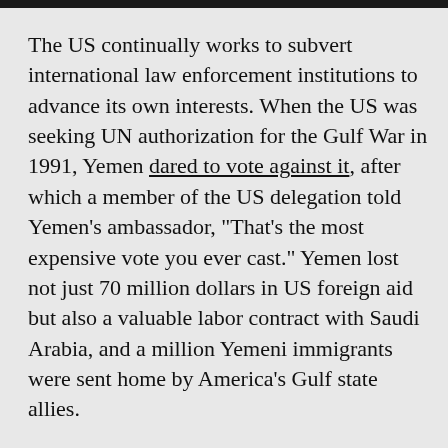The US continually works to subvert international law enforcement institutions to advance its own interests. When the US was seeking UN authorization for the Gulf War in 1991, Yemen dared to vote against it, after which a member of the US delegation told Yemen's ambassador, “That’s the most expensive vote you ever cast.” Yemen lost not just 70 million dollars in US foreign aid but also a valuable labor contract with Saudi Arabia, and a million Yemeni immigrants were sent home by America’s Gulf state allies.
Simple observation of who is subject to international law enforcement and who is not